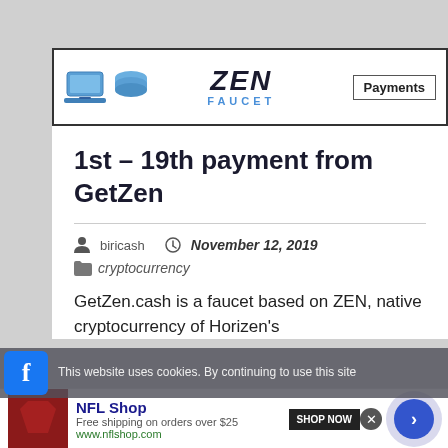[Figure (screenshot): ZEN FAUCET website header banner with laptop and faucet icons, ZEN FAUCET logo in the center, and a Payments button on the right]
1st – 19th payment from GetZen
biricash  November 12, 2019  cryptocurrency
GetZen.cash is a faucet based on ZEN, native cryptocurrency of Horizen's
This website uses cookies. By continuing to use this site
[Figure (screenshot): NFL Shop advertisement banner with shop now button and navigation arrow]